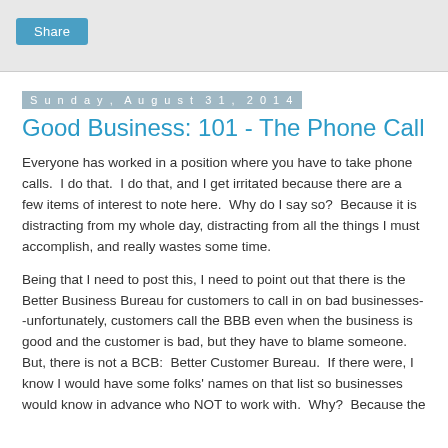Share
Sunday, August 31, 2014
Good Business: 101 - The Phone Call
Everyone has worked in a position where you have to take phone calls.  I do that.  I do that, and I get irritated because there are a few items of interest to note here.  Why do I say so?  Because it is distracting from my whole day, distracting from all the things I must accomplish, and really wastes some time.
Being that I need to post this, I need to point out that there is the Better Business Bureau for customers to call in on bad businesses--unfortunately, customers call the BBB even when the business is good and the customer is bad, but they have to blame someone.  But, there is not a BCB:  Better Customer Bureau.  If there were, I know I would have some folks' names on that list so businesses would know in advance who NOT to work with.  Why?  Because the